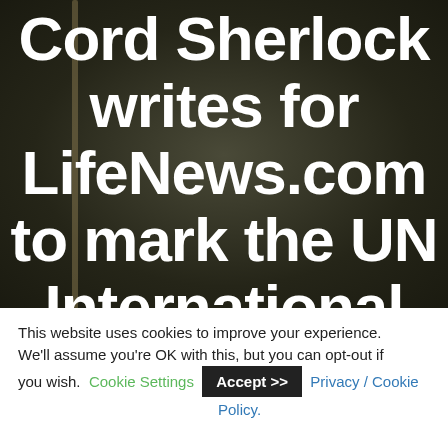[Figure (photo): Dark background photo with large white bold text overlay reading 'Cord Sherlock writes for LifeNews.com to mark the UN International' — the text is cut off at the bottom. The background appears to be a dark, blurred scene.]
This website uses cookies to improve your experience. We'll assume you're OK with this, but you can opt-out if you wish. Cookie Settings  Accept >>  Privacy / Cookie Policy.